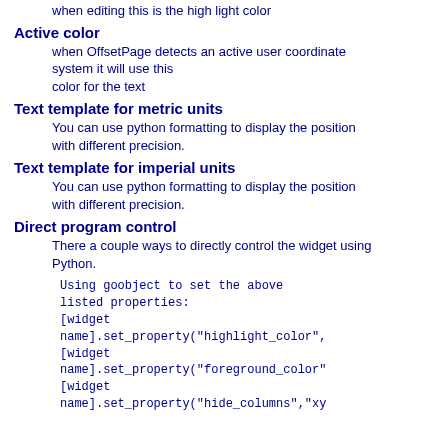when editing this is the high light color
Active color
when OffsetPage detects an active user coordinate system it will use this color for the text
Text template for metric units
You can use python formatting to display the position with different precision.
Text template for imperial units
You can use python formatting to display the position with different precision.
Direct program control
There a couple ways to directly control the widget using Python.
Using goobject to set the above listed properties:
[widget name].set_property("highlight_color",
[widget name].set_property("foreground_color",
[widget name].set_property("hide_columns","xy